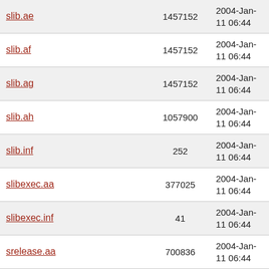| Name | Size | Date |
| --- | --- | --- |
| slib.ae | 1457152 | 2004-Jan-11 06:44 |
| slib.af | 1457152 | 2004-Jan-11 06:44 |
| slib.ag | 1457152 | 2004-Jan-11 06:44 |
| slib.ah | 1057900 | 2004-Jan-11 06:44 |
| slib.inf | 252 | 2004-Jan-11 06:44 |
| slibexec.aa | 377025 | 2004-Jan-11 06:44 |
| slibexec.inf | 41 | 2004-Jan-11 06:44 |
| srelease.aa | 700836 | 2004-Jan-11 06:44 |
| srelease.inf | 41 | 2004-Jan-11 06:44 |
| srescue.inf | 39 | 2004-Jan-11 06:45 |
| srescue.aa | 4922 | 2004-Jan-11 06:45 |